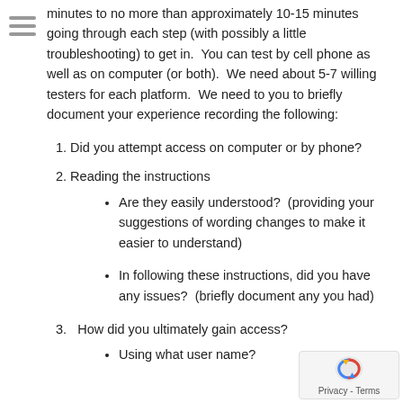minutes to no more than approximately 10-15 minutes going through each step (with possibly a little troubleshooting) to get in.  You can test by cell phone as well as on computer (or both).  We need about 5-7 willing testers for each platform.  We need to you to briefly document your experience recording the following:
1. Did you attempt access on computer or by phone?
2. Reading the instructions
Are they easily understood?  (providing your suggestions of wording changes to make it easier to understand)
In following these instructions, did you have any issues?  (briefly document any you had)
3.  How did you ultimately gain access?
Using what user name?